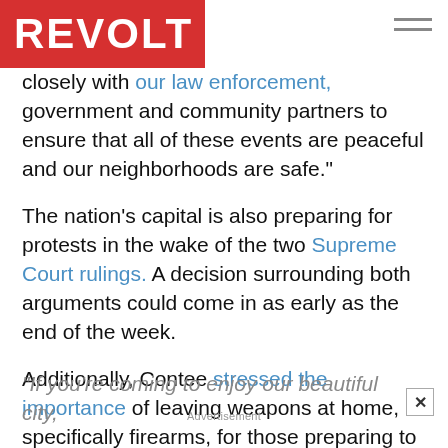REVOLT
closely with our law enforcement, government and community partners to ensure that all of these events are peaceful and our neighborhoods are safe."
The nation's capital is also preparing for protests in the wake of the two Supreme Court rulings. A decision surrounding both arguments could come in as early as the end of the week.
Additionally, Contee stressed the importance of leaving weapons at home, specifically firearms, for those preparing to utilize their first amendment.
“If you’re coming to enjoy our beautiful city,
Advertisement